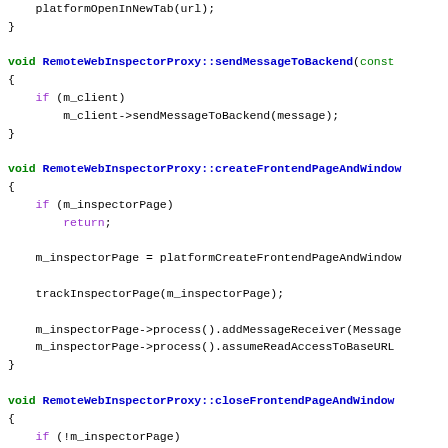source code snippet showing RemoteWebInspectorProxy methods: sendMessageToBackend, createFrontendPageAndWindow, closeFrontendPageAndWindow